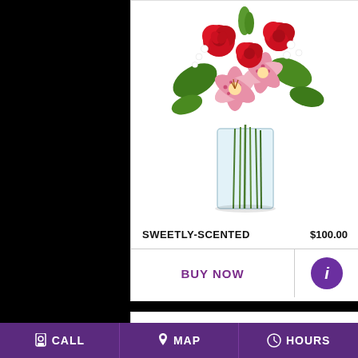[Figure (photo): A flower arrangement in a clear glass vase with red roses, pink stargazer lilies, white alstroemeria, and green foliage. The stems are visible through the glass vase.]
SWEETLY-SCENTED
$100.00
BUY NOW
[Figure (infographic): Purple circle with white italic letter i (info button)]
ANNIVERSARY
CALL   MAP   HOURS